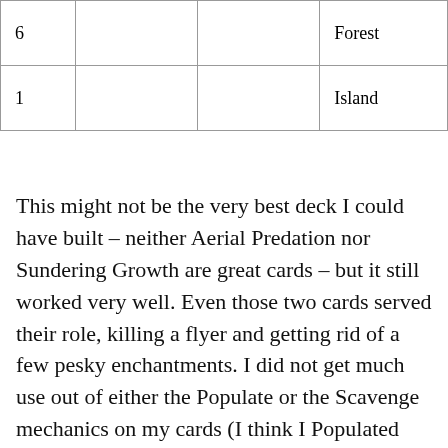| 6 |  |  | Forest |
| 1 |  |  | Island |
This might not be the very best deck I could have built – neither Aerial Predation nor Sundering Growth are great cards – but it still worked very well. Even those two cards served their role, killing a flyer and getting rid of a few pesky enchantments. I did not get much use out of either the Populate or the Scavenge mechanics on my cards (I think I Populated once in six games, and never Scavenged), but the Azorius Justicar's Detain ability was handy multiple times.